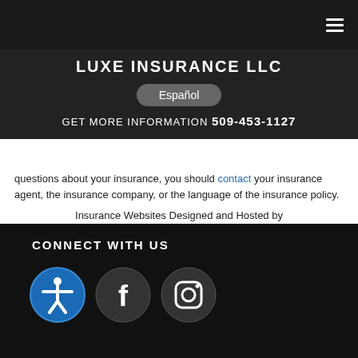LUXE INSURANCE LLC
Español
GET MORE INFORMATION 509-453-1127
questions about your insurance, you should contact your insurance agent, the insurance company, or the language of the insurance policy.
Insurance Websites Designed and Hosted by Insurance Website Builder
Glossary content provided by Insurance Information Institute and ITC
CONNECT WITH US
[Figure (illustration): Three circular social/accessibility icons: accessibility icon (blue circle with person symbol), Facebook icon (dark circle with F), Instagram icon (dark circle with camera symbol)]